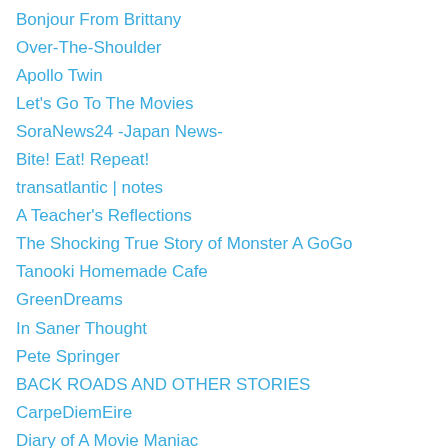Bonjour From Brittany
Over-The-Shoulder
Apollo Twin
Let's Go To The Movies
SoraNews24 -Japan News-
Bite! Eat! Repeat!
transatlantic | notes
A Teacher's Reflections
The Shocking True Story of Monster A GoGo
Tanooki Homemade Cafe
GreenDreams
In Saner Thought
Pete Springer
BACK ROADS AND OTHER STORIES
CarpeDiemEire
Diary of A Movie Maniac
Geeking Out about It
Wheelescapades
robertawrites235681907.wordpress.com/
Robbie's inspiration